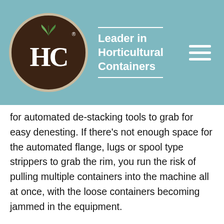Leader in Horticultural Containers
for automated de-stacking tools to grab for easy denesting. If there's not enough space for the automated flange, lugs or spool type strippers to grab the rim, you run the risk of pulling multiple containers into the machine all at once, with the loose containers becoming jammed in the equipment.
If you are planning on using automated handling equipment such as fork systems, you will want to make sure that the rim protrudes far enough